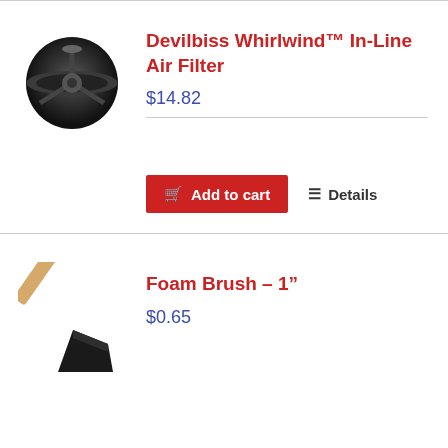[Figure (photo): Devilbiss Whirlwind In-Line Air Filter product photo – circular black air filter viewed from top]
Devilbiss Whirlwind™ In-Line Air Filter
$14.82
Add to cart   Details
[Figure (photo): Foam Brush 1 inch product photo – brush with wooden handle on a black foam tip, angled diagonally]
Foam Brush – 1"
$0.65